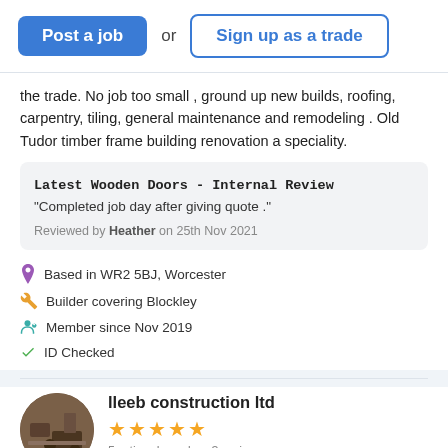Post a job or Sign up as a trade
the trade. No job too small , ground up new builds, roofing, carpentry, tiling, general maintenance and remodeling . Old Tudor timber frame building renovation a speciality.
Latest Wooden Doors - Internal Review
"Completed job day after giving quote ."
Reviewed by Heather on 25th Nov 2021
Based in WR2 5BJ, Worcester
Builder covering Blockley
Member since Nov 2019
ID Checked
lleeb construction ltd
5 rating, based on 3 reviews